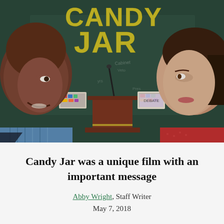[Figure (photo): Movie poster for 'Candy Jar' showing two teenagers — a young Black male on the left smiling sideways and a young white female on the right looking sideways — facing each other across a debate podium in front of a chalkboard. The title 'CANDY JAR' is displayed in large yellow hand-drawn letters at the top.]
Candy Jar was a unique film with an important message
Abby Wright, Staff Writer
May 7, 2018